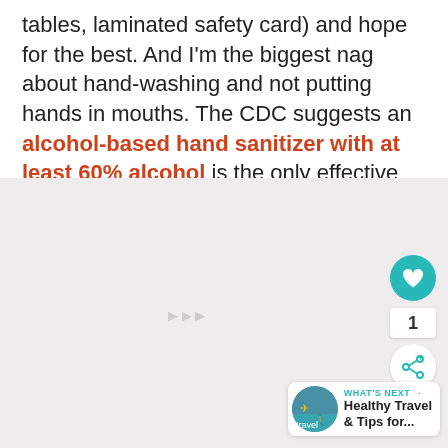tables, laminated safety card) and hope for the best. And I'm the biggest nag about hand-washing and not putting hands in mouths. The CDC suggests an alcohol-based hand sanitizer with at least 60% alcohol is the only effective hand sanitizer available.
[Figure (photo): Large image area showing travel/health related photo, mostly obscured/light]
[Figure (infographic): What's Next widget with circular avatar showing travel image, label 'WHAT'S NEXT →', title 'Healthy Travel & Tips for...']